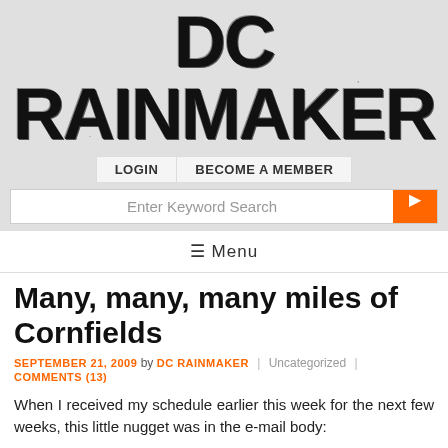DC RAINMAKER
LOGIN   BECOME A MEMBER
Enter Keyword Search
≡ Menu
Many, many, many miles of Cornfields
SEPTEMBER 21, 2009 by DC RAINMAKER | Uncategorized | COMMENTS (13)
When I received my schedule earlier this week for the next few weeks, this little nugget was in the e-mail body:
After we see how Queenstown 120 goes, I'll do the next Queenstown bike in the series.